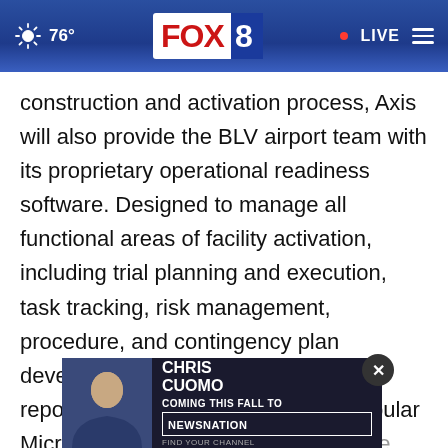[Figure (screenshot): FOX 8 news website navigation bar showing weather (sun icon, 76°), FOX 8 logo, LIVE indicator with red dot, and hamburger menu]
construction and activation process, Axis will also provide the BLV airport team with its proprietary operational readiness software. Designed to manage all functional areas of facility activation, including trial planning and execution, task tracking, risk management, procedure, and contingency plan development, training, and readiness reporting, the software leverages popular Microsoft technologies for ease of use across all stakeholder grou[ps,] ensur[ing wide adoption throughout the duration] of the activation tools.
[Figure (screenshot): Chris Cuomo advertisement banner for NewsNation — Coming This Fall To NewsNation, Find Your Channel]